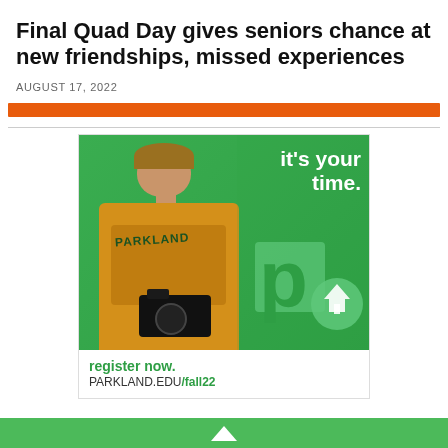Final Quad Day gives seniors chance at new friendships, missed experiences
AUGUST 17, 2022
[Figure (photo): Advertisement for Parkland College showing a student in a yellow PARKLAND hoodie holding a camera on a green background, with the text 'it's your time.' and the Parkland logo (stylized P with tree icon). Footer reads 'register now. PARKLAND.EDU/fall22']